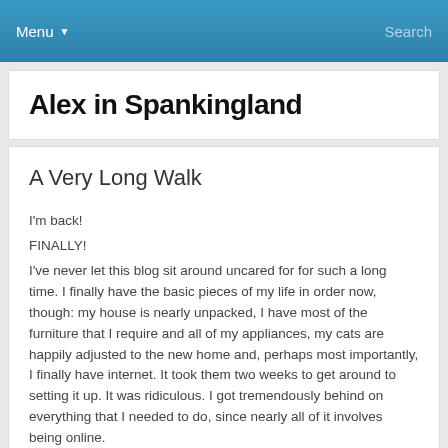Menu ▼   Search
Alex in Spankingland
A Very Long Walk
I'm back!
FINALLY!
I've never let this blog sit around uncared for for such a long time. I finally have the basic pieces of my life in order now, though: my house is nearly unpacked, I have most of the furniture that I require and all of my appliances, my cats are happily adjusted to the new home and, perhaps most importantly, I finally have internet. It took them two weeks to get around to setting it up. It was ridiculous. I got tremendously behind on everything that I needed to do, since nearly all of it involves being online.
I'm finally getting caught up now. It's very time consuming.

But life is good.